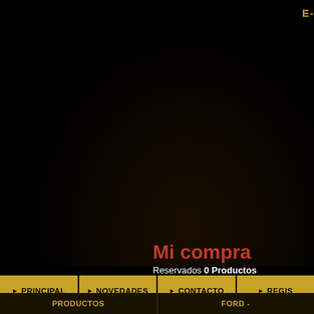E-
Mi compra
Reservados 0 Productos
▶ PRINCIPAL
▶ NOVEDADES
▶ CONTACTO
▶ REGIS
PRODUCTOS
FORD -